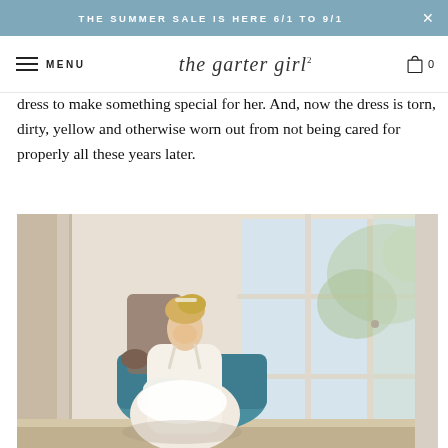THE SUMMER SALE IS HERE 6/1 TO 9/1
MENU — the garter girl — 0
dress to make something special for her. And, now the dress is torn, dirty, yellow and otherwise worn out from not being cared for properly all these years later.
[Figure (photo): A blonde woman wearing a white bridal dress/top sitting in a teal velvet chair near a large white-framed window, looking down at something in her lap. Bright outdoor greenery visible through window.]